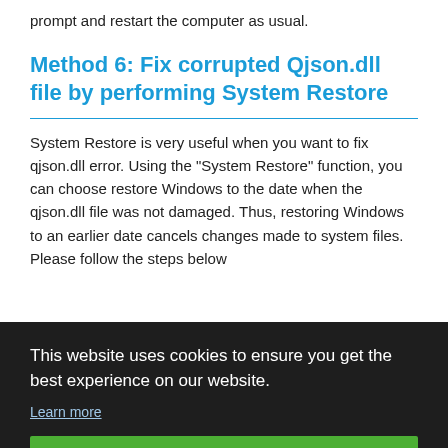prompt and restart the computer as usual.
Method 6: Fix corrupted Qjson.dll file by performing System Restore
System Restore is very useful when you want to fix qjson.dll error. Using the "System Restore" function, you can choose restore Windows to the date when the qjson.dll file was not damaged. Thus, restoring Windows to an earlier date cancels changes made to system files. Please follow the steps below
[Figure (screenshot): Cookie consent banner overlay with dark background. Text reads: 'This website uses cookies to ensure you get the best experience on our website.' with a 'Learn more' link and a green 'Got it!' button.]
"Choose a different restore point" option. If so, select this